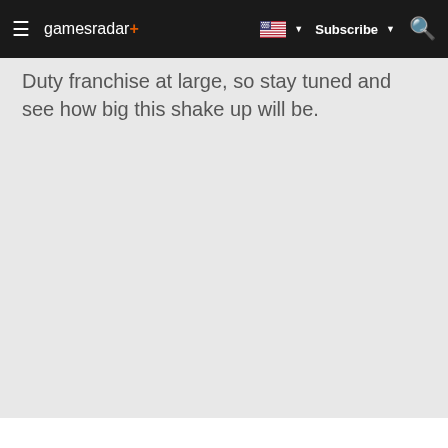gamesradar+ | Subscribe | [search]
Duty franchise at large, so stay tuned and see how big this shake up will be.